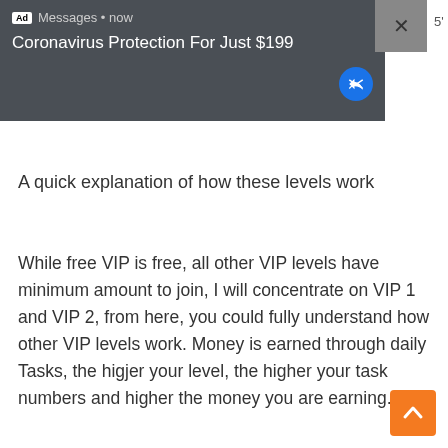[Figure (screenshot): Ad notification banner with dark background showing 'Ad Messages • now' and text 'Coronavirus Protection For Just $199' with a close X button and reply button]
5'
A quick explanation of how these levels work
While free VIP is free, all other VIP levels have minimum amount to join, I will concentrate on VIP 1 and VIP 2, from here, you could fully understand how other VIP levels work. Money is earned through daily Tasks, the higjer your level, the higher your task numbers and higher the money you are earning.
[Figure (other): Orange scroll-to-top button with white upward chevron arrow]